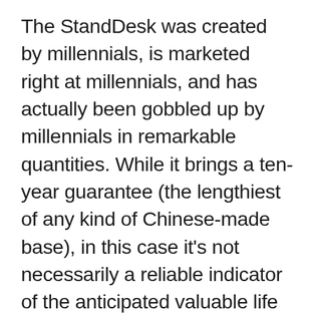The StandDesk was created by millennials, is marketed right at millennials, and has actually been gobbled up by millennials in remarkable quantities. While it brings a ten-year guarantee (the lengthiest of any kind of Chinese-made base), in this case it's not necessarily a reliable indicator of the anticipated valuable life of the training columns. But also for the rate, the StandDesk is a fantastic lower-cost option to the UpLift, Jarvis as well as other Chinese-made workdesks. Despite its security problems this is a far better item than the Autonomous SmartDesk or IKEA Bekant might ever wish to be, as well as a good value generally. It's the mid-priced offering in the broad classification of Chinese-made desks that is gaining clients from both its